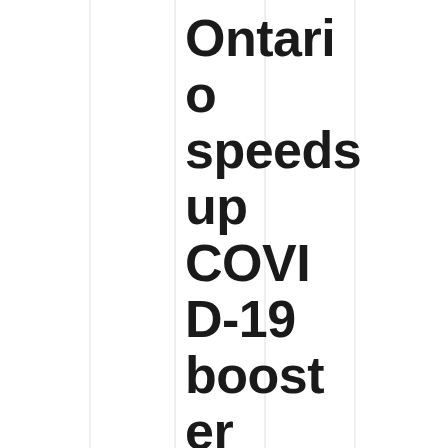Ontario speeds up COVID-19 booster shots, increases rapid test acces